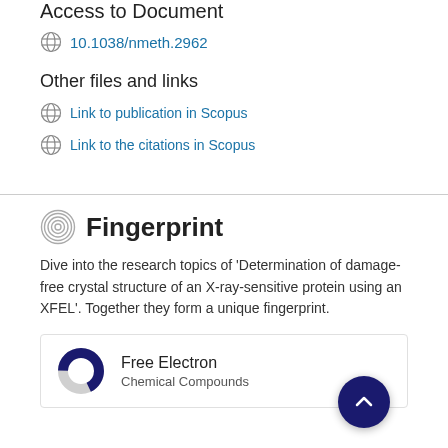Access to Document
10.1038/nmeth.2962
Other files and links
Link to publication in Scopus
Link to the citations in Scopus
Fingerprint
Dive into the research topics of 'Determination of damage-free crystal structure of an X-ray-sensitive protein using an XFEL'. Together they form a unique fingerprint.
Free Electron
Chemical Compounds